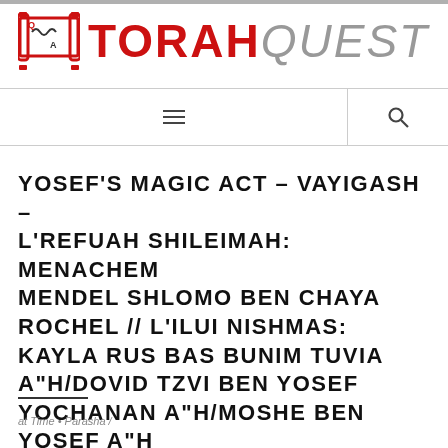[Figure (logo): TorahQuest logo with Torah scroll icon and red TORAH and gray italic QUEST text]
≡  🔍
YOSEF'S MAGIC ACT – VAYIGASH – L'REFUAH SHILEIMAH: MENACHEM MENDEL SHLOMO BEN CHAYA ROCHEL // L'ILUI NISHMAS: KAYLA RUS BAS BUNIM TUVIA A"H/DOVID TZVI BEN YOSEF YOCHANAN A"H/MOSHE BEN YOSEF A"H
at Time + Parasha /